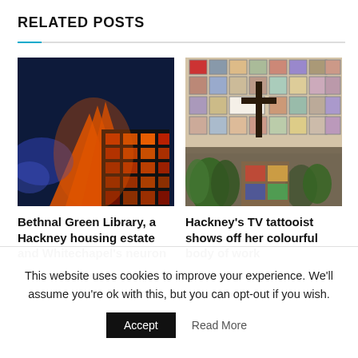RELATED POSTS
[Figure (photo): Colorful illuminated building facade with orange sculptural structure and blue light display at night]
[Figure (photo): Interior room with walls covered in framed photos and artwork, plants, and decorative objects]
Bethnal Green Library, a Hackney housing estate and Whitechapel's neuron
Hackney's TV tattooist shows off her colourful body of work
This website uses cookies to improve your experience. We'll assume you're ok with this, but you can opt-out if you wish.